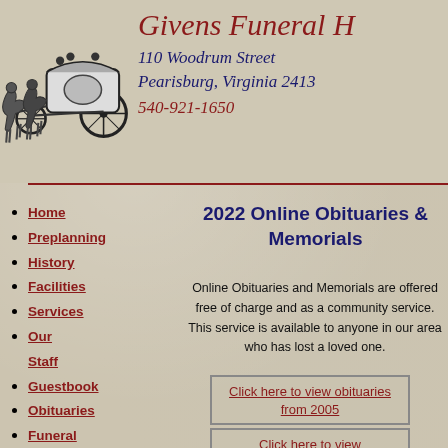Givens Funeral H[ome] 110 Woodrum Street Pearisburg, Virginia 2413[0] 540-921-1650
[Figure (illustration): Antique horse-drawn funeral carriage illustration in black ink]
Home
Preplanning
History
Facilities
Services
Our Staff
Guestbook
Obituaries
Funeral Etiquette
Acknowledgement Etiquette
Florist
2022 Online Obituaries & Memorials
Online Obituaries and Memorials are offered free of charge and as a community service. This service is available to anyone in our area who has lost a loved one.
Click here to view obituaries from 2005
Click here to view